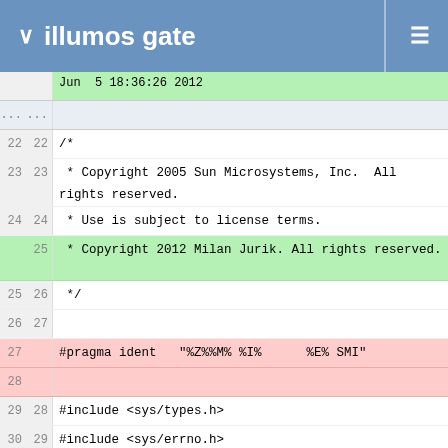illumos gate
[Figure (screenshot): Code diff viewer showing changes to a C source file. Green highlighted rows show additions, red rows show deletions. Lines shown include copyright header (lines 22-26), pragma ident removal (line 27), includes for sys/types.h, sys/errno.h, sys/tiuser.h (lines 29-31), and function code with rpcsec_gss_service and sprintf calls (lines 105-107).]